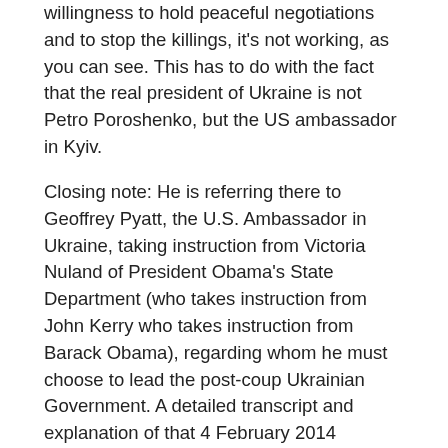willingness to hold peaceful negotiations and to stop the killings, it's not working, as you can see. This has to do with the fact that the real president of Ukraine is not Petro Poroshenko, but the US ambassador in Kyiv.
Closing note: He is referring there to Geoffrey Pyatt, the U.S. Ambassador in Ukraine, taking instruction from Victoria Nuland of President Obama's State Department (who takes instruction from John Kerry who takes instruction from Barack Obama), regarding whom he must choose to lead the post-coup Ukrainian Government. A detailed transcript and explanation of that 4 February 2014 conversation between Pyatt and Nuland can be seen here. Of course, the fact that the man who would be appointed 18 days later to run Ukraine was being selected during this momentous phone-conversation was ignored there. U.S. ‘news’ media could not deny that this phone-conversation took place, because even the White House now essentially acknowledged that it was authentic. So, instead, U.S. ‘news’ media just ignored the import of what was being said in this history-making conversation — the conversation that led to the the in…